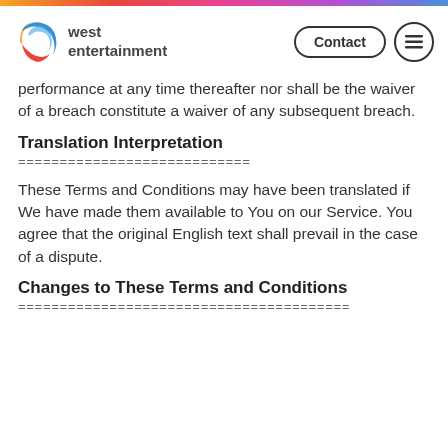west entertainment | Contact
performance at any time thereafter nor shall be the waiver of a breach constitute a waiver of any subsequent breach.
Translation Interpretation
============================
These Terms and Conditions may have been translated if We have made them available to You on our Service. You agree that the original English text shall prevail in the case of a dispute.
Changes to These Terms and Conditions
========================================